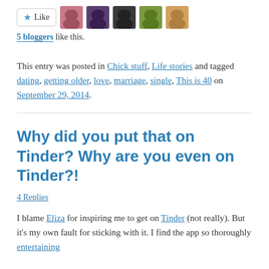[Figure (other): Like button with star icon and five blogger avatar thumbnails]
5 bloggers like this.
This entry was posted in Chick stuff, Life stories and tagged dating, getting older, love, marriage, single, This is 40 on September 29, 2014.
Why did you put that on Tinder? Why are you even on Tinder?!
4 Replies
I blame Eliza for inspiring me to get on Tinder (not really). But it's my own fault for sticking with it. I find the app so thoroughly entertaining